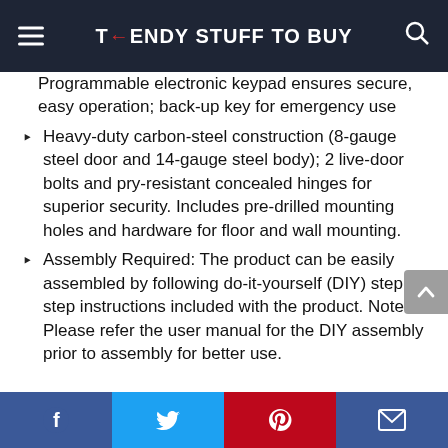TRENDY STUFF TO BUY
Programmable electronic keypad ensures secure, easy operation; back-up key for emergency use
Heavy-duty carbon-steel construction (8-gauge steel door and 14-gauge steel body); 2 live-door bolts and pry-resistant concealed hinges for superior security. Includes pre-drilled mounting holes and hardware for floor and wall mounting.
Assembly Required: The product can be easily assembled by following do-it-yourself (DIY) step by step instructions included with the product. Note: Please refer the user manual for the DIY assembly prior to assembly for better use.
Facebook | Twitter | Pinterest | Email